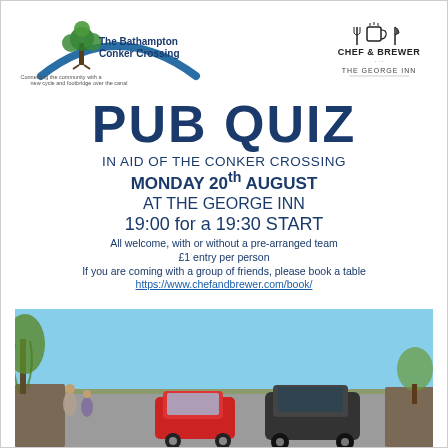[Figure (logo): The Bathampton Conker Crossing logo with tree and bridge arc, tagline: Connecting the community with a new cycle and footbridge over the canal]
[Figure (logo): Chef & Brewer logo with mug and fork icon, and THE GEORGE INN text below]
PUB QUIZ
IN AID OF THE CONKER CROSSING
MONDAY 20th AUGUST
AT THE GEORGE INN
19:00 for a 19:30 START
All welcome, with or without a pre-arranged team
£1 entry per person
If you are coming with a group of friends, please book a table
https://www.chefandbrewer.com/book/
[Figure (photo): Outdoor photo showing a narrow road or canal bridge with cars, people walking, willow trees and countryside in background under blue sky]